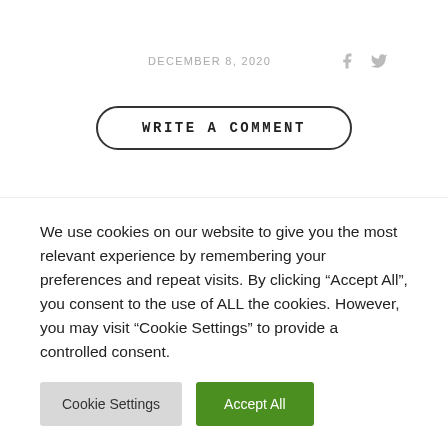DECEMBER 8, 2020
WRITE A COMMENT
We use cookies on our website to give you the most relevant experience by remembering your preferences and repeat visits. By clicking “Accept All”, you consent to the use of ALL the cookies. However, you may visit "Cookie Settings" to provide a controlled consent.
Cookie Settings | Accept All